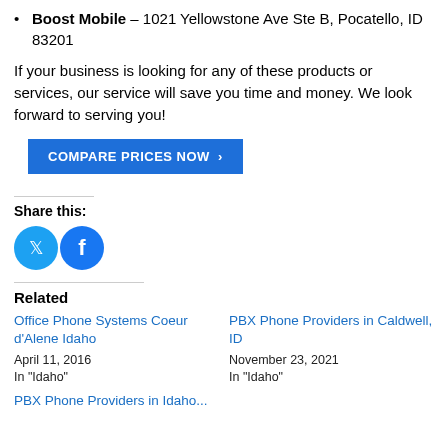Boost Mobile – 1021 Yellowstone Ave Ste B, Pocatello, ID 83201
If your business is looking for any of these products or services, our service will save you time and money. We look forward to serving you!
COMPARE PRICES NOW ›
Share this:
[Figure (illustration): Twitter and Facebook social share icon buttons (circular blue icons)]
Related
Office Phone Systems Coeur d'Alene Idaho
April 11, 2016
In "Idaho"
PBX Phone Providers in Caldwell, ID
November 23, 2021
In "Idaho"
PBX Phone Providers in Idaho...